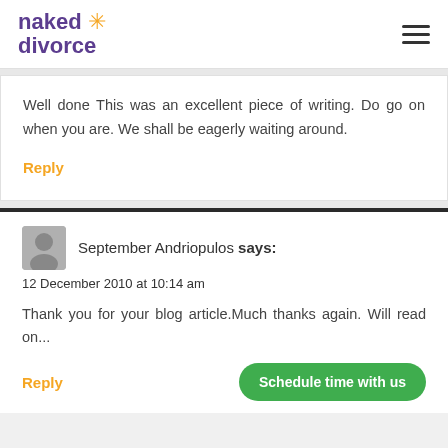naked divorce (logo with hamburger menu)
Well done This was an excellent piece of writing. Do go on when you are. We shall be eagerly waiting around.
Reply
September Andriopulos says:
12 December 2010 at 10:14 am
Thank you for your blog article.Much thanks again. Will read on...
Reply
[Figure (other): Schedule time with us green button]